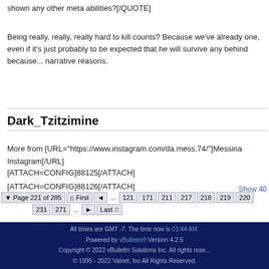shown any other meta abilities?[/QUOTE]
Being really, really, really hard to kill counts? Because we've already one, even if it's just probably to be expected that he will survive any behind because... narrative reasons.
Dark_Tzitzimine
More from [URL="https://www.instagram.com/da.mess.74/"]Messina Instagram[/URL]
[ATTACH=CONFIG]88125[/ATTACH]
[ATTACH=CONFIG]88126[/ATTACH]
Show 40
Page 221 of 285  First  ... 121 171 211 217 218 219 220 ... 231 271 ... Last
All times are GMT -7. The time now is 01:44 AM.
Powered by vBulletin® Version 4.2.5
Copyright © 2022 vBulletin Solutions Inc. All rights reserved.
© 1995 - 2022 Valnet, Inc All Rights Reserved.